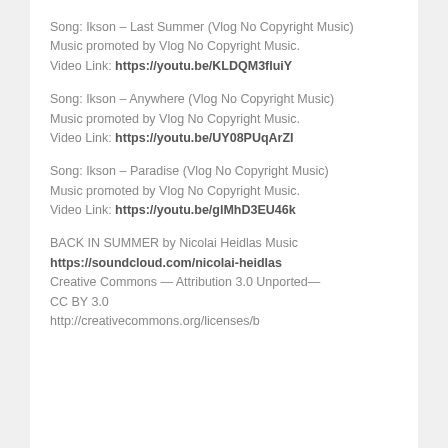Song: Ikson – Last Summer (Vlog No Copyright Music)
Music promoted by Vlog No Copyright Music.
Video Link: https://youtu.be/KLDQM3fluiY
Song: Ikson – Anywhere (Vlog No Copyright Music)
Music promoted by Vlog No Copyright Music.
Video Link: https://youtu.be/UY08PUqArZI
Song: Ikson – Paradise (Vlog No Copyright Music)
Music promoted by Vlog No Copyright Music.
Video Link: https://youtu.be/glMhD3EU46k
BACK IN SUMMER by Nicolai Heidlas Music
https://soundcloud.com/nicolai-heidlas
Creative Commons — Attribution 3.0 Unported— CC BY 3.0
http://creativecommons.org/licenses/b